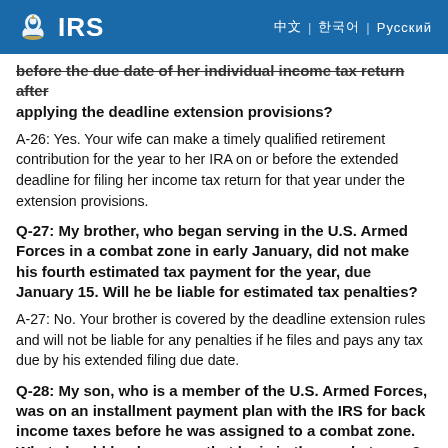IRS
before the due date of her individual income tax return after applying the deadline extension provisions?
A-26: Yes. Your wife can make a timely qualified retirement contribution for the year to her IRA on or before the extended deadline for filing her income tax return for that year under the extension provisions.
Q-27: My brother, who began serving in the U.S. Armed Forces in a combat zone in early January, did not make his fourth estimated tax payment for the year, due January 15. Will he be liable for estimated tax penalties?
A-27: No. Your brother is covered by the deadline extension rules and will not be liable for any penalties if he files and pays any tax due by his extended filing due date.
Q-28: My son, who is a member of the U.S. Armed Forces, was on an installment payment plan with the IRS for back income taxes before he was assigned to a combat zone. What should be done now that he is in the combat zone?
A-28: The IRS office where your son was making payments